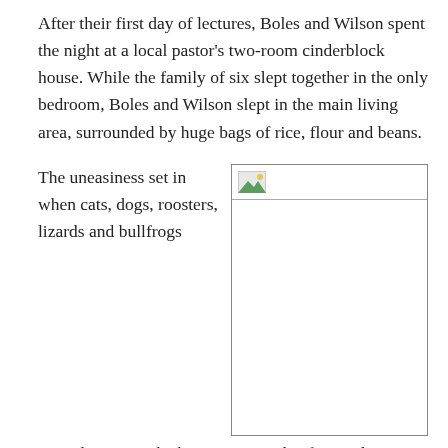After their first day of lectures, Boles and Wilson spent the night at a local pastor's two-room cinderblock house. While the family of six slept together in the only bedroom, Boles and Wilson slept in the main living area, surrounded by huge bags of rice, flour and beans.
The uneasiness set in when cats, dogs, roosters, lizards and bullfrogs started roaming the house – a parade of animals officiated by a roosting hen that nestled on Boles'
[Figure (photo): A placeholder image box with a small image icon in the top left corner and a horizontal divider line below it. The image area is empty/white.]